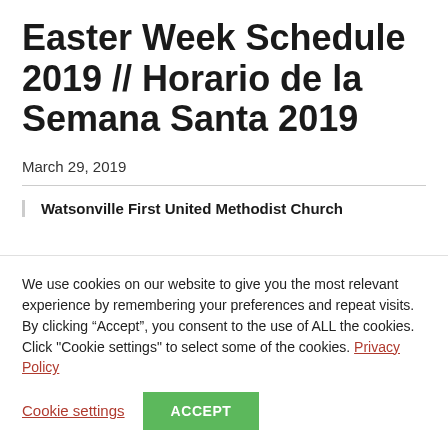Easter Week Schedule 2019 // Horario de la Semana Santa 2019
March 29, 2019
Watsonville First United Methodist Church
We use cookies on our website to give you the most relevant experience by remembering your preferences and repeat visits. By clicking “Accept”, you consent to the use of ALL the cookies. Click "Cookie settings" to select some of the cookies. Privacy Policy
Cookie settings | ACCEPT